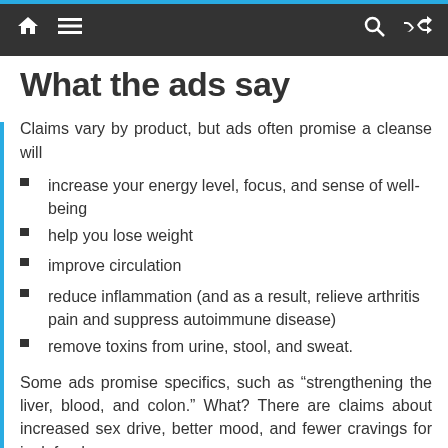What the ads say
Claims vary by product, but ads often promise a cleanse will
increase your energy level, focus, and sense of well-being
help you lose weight
improve circulation
reduce inflammation (and as a result, relieve arthritis pain and suppress autoimmune disease)
remove toxins from urine, stool, and sweat.
Some ads promise specifics, such as “strengthening the liver, blood, and colon.” What? There are claims about increased sex drive, better mood, and fewer cravings for junk food.